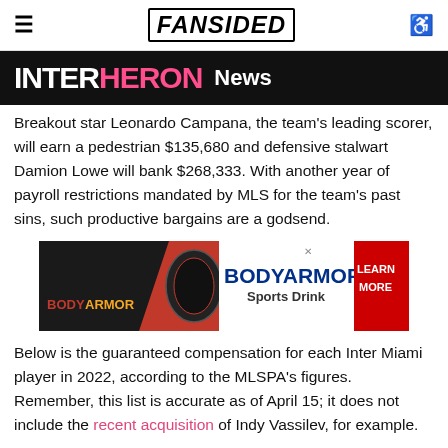FANSIDED
INTERHERON News
Breakout star Leonardo Campana, the team's leading scorer, will earn a pedestrian $135,680 and defensive stalwart Damion Lowe will bank $268,333. With another year of payroll restrictions mandated by MLS for the team's past sins, such productive bargains are a godsend.
[Figure (advertisement): BODYARMOR Sports Drink advertisement with red Learn More button]
Below is the guaranteed compensation for each Inter Miami player in 2022, according to the MLSPA's figures. Remember, this list is accurate as of April 15; it does not include the recent acquisition of Indy Vassilev, for example.
Defenders
Noah Allen – $67,167
Jan Fray – $84,000